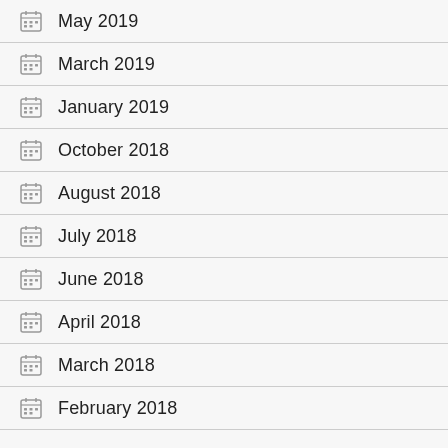May 2019
March 2019
January 2019
October 2018
August 2018
July 2018
June 2018
April 2018
March 2018
February 2018